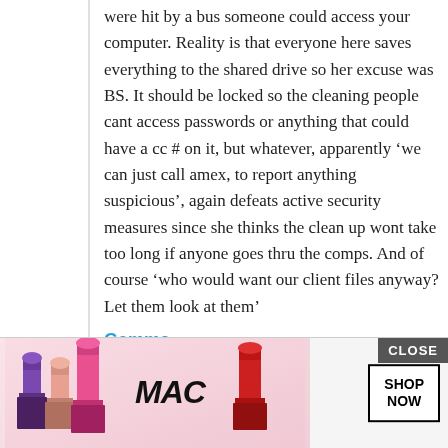were hit by a bus someone could access your computer. Reality is that everyone here saves everything to the shared drive so her excuse was BS. It should be locked so the cleaning people cant access passwords or anything that could have a cc # on it, but whatever, apparently ‘we can just call amex, to report anything suspicious’, again defeats active security measures since she thinks the clean up wont take too long if anyone goes thru the comps. And of course ‘who would want our client files anyway? Let them look at them’
Gemma
March 19, 2013 at 6:12 pm
I’m in infosec: prior to consulting, messed up
[Figure (photo): MAC Cosmetics advertisement banner showing lipsticks in purple, peach, and pink colors with MAC logo and SHOP NOW button, with a CLOSE button overlay]